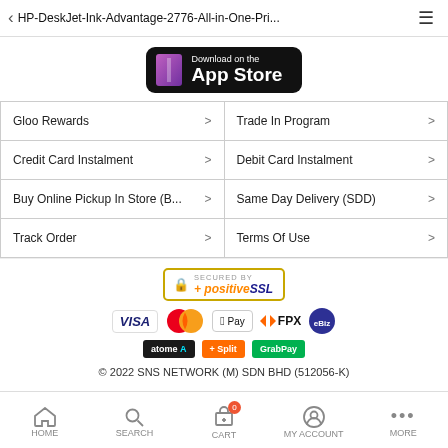HP-DeskJet-Ink-Advantage-2776-All-in-One-Pri...
[Figure (logo): Download on the App Store button (black rounded rectangle with Apple icon)]
Gloo Rewards >
Trade In Program >
Credit Card Instalment >
Debit Card Instalment >
Buy Online Pickup In Store (B... >
Same Day Delivery (SDD) >
Track Order >
Terms Of Use >
[Figure (logo): Secured by Positive SSL badge, VISA, Mastercard, Apple Pay, FPX, eB Trust logos, Atome, +Split, GrabPay logos]
© 2022 SNS NETWORK (M) SDN BHD (512056-K)
HOME  SEARCH  CART  MY ACCOUNT  MORE